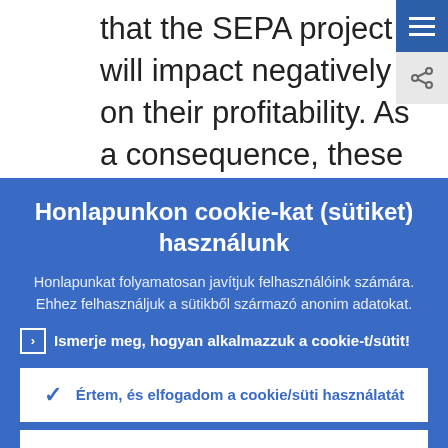that the SEPA project will impact negatively on their profitability. As a consequence, these banks are cautiously slowing down adoption of
Honlapunkon cookie-kat (sütiket) használunk
Honlapunkat folyamatosan javítjuk felhasználóink számára. Ehhez felhasználjuk a sütikből származó anonim adatokat.
Ismerje meg, hogyan alkalmazzuk a cookie-t/sütit!
Értem, és elfogadom a cookie/süti használatát
Visszautasítom a cookie/süti használatát